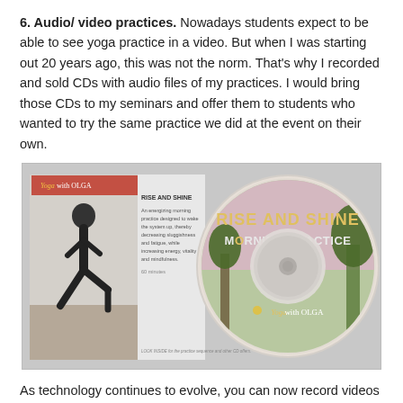6. Audio/ video practices. Nowadays students expect to be able to see yoga practice in a video. But when I was starting out 20 years ago, this was not the norm. That's why I recorded and sold CDs with audio files of my practices. I would bring those CDs to my seminars and offer them to students who wanted to try the same practice we did at the event on their own.
[Figure (photo): Photo of a Yoga with Olga CD product — showing a DVD/CD case on the left with a yoga practitioner in a lunge pose and text 'Rise and Shine', and a CD disc on the right with 'Rise and Shine Morning Practice' and 'Yoga with Olga' branding.]
As technology continues to evolve, you can now record videos of your practices pretty easily. It is also easy to post those practices online (via YouTube, for example), but offering your practices for free will not help your bottom line. If you want to make your yoga videos a source of your income, you would need to have a place online to sell those